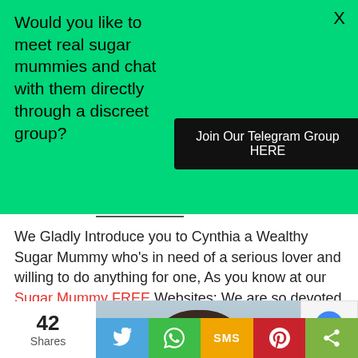[Figure (infographic): Green banner with text asking to meet real sugar mummies and a black button to join Telegram group]
Would you like to meet real sugar mummies and chat with them directly through a discreet group?
Join Our Telegram Group HERE
We Gladly Introduce you to Cynthia a Wealthy Sugar Mummy who's in need of a serious lover and willing to do anything for one, As you know at our Sugar Mummy FREE Websites; We are so devoted to always deliver Latest And Rich Sugar Mommies to our Faithful Followers....
[Figure (photo): Partial photo of a person at the bottom of the page]
42 Shares